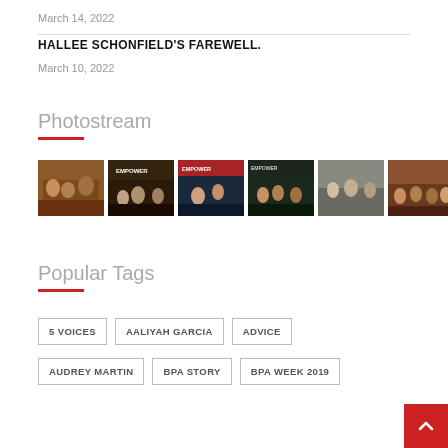March 14, 2022
HALLEE SCHONFIELD'S FAREWELL.
March 10, 2022
Photostream
[Figure (photo): Row of 6 group photos from events]
Popular Tags
5 VOICES
AALIYAH GARCIA
ADVICE
AUDREY MARTIN
BPA STORY
BPA WEEK 2019